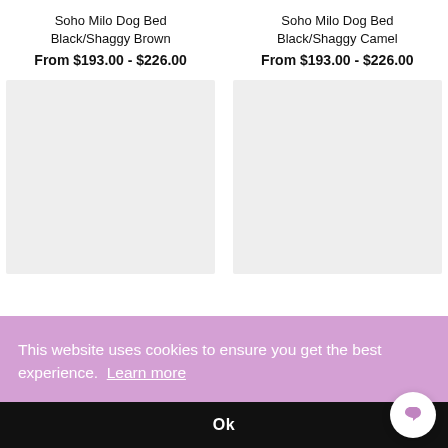Soho Milo Dog Bed
Black/Shaggy Brown
Soho Milo Dog Bed
Black/Shaggy Camel
From $193.00 - $226.00
From $193.00 - $226.00
[Figure (photo): Product image placeholder (light gray rectangle) for Soho Milo Dog Bed Black/Shaggy Brown]
[Figure (photo): Product image placeholder (light gray rectangle) for Soho Milo Dog Bed Black/Shaggy Camel]
This website uses cookies to ensure you get the best experience.  Learn more
Ok